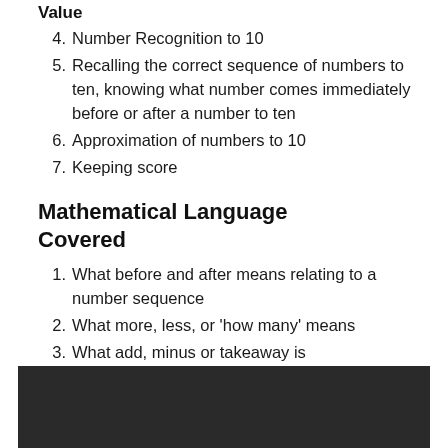4. Number Recognition to 10
5. Recalling the correct sequence of numbers to ten, knowing what number comes immediately before or after a number to ten
6. Approximation of numbers to 10
7. Keeping score
Mathematical Language Covered
1. What before and after means relating to a number sequence
2. What more, less, or 'how many' means
3. What add, minus or takeaway is
[Figure (photo): Dark/black image at the bottom of the page, partially visible]